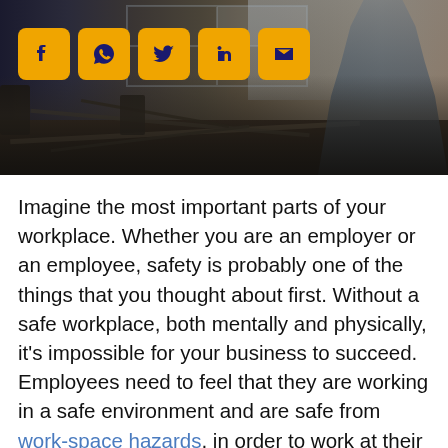[Figure (photo): Workshop/industrial setting photo showing a person standing near a workbench covered with tools and metal parts, with window light in the background. Social media sharing icons (Facebook, WhatsApp, Twitter, LinkedIn, Email) displayed in amber/gold rounded square buttons in the upper left.]
Imagine the most important parts of your workplace. Whether you are an employer or an employee, safety is probably one of the things that you thought about first. Without a safe workplace, both mentally and physically, it's impossible for your business to succeed. Employees need to feel that they are working in a safe environment and are safe from work-space hazards, in order to work at their